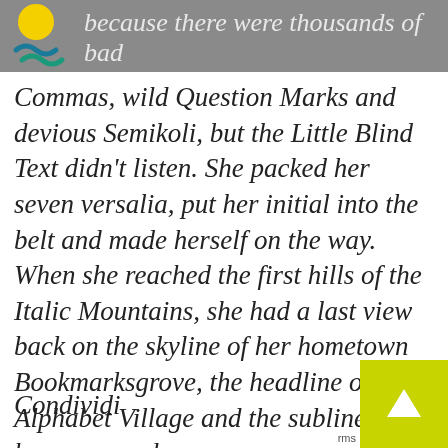because there were thousands of bad
Commas, wild Question Marks and devious Semikoli, but the Little Blind Text didn't listen. She packed her seven versalia, put her initial into the belt and made herself on the way. When she reached the first hills of the Italic Mountains, she had a last view back on the skyline of her hometown Bookmarksgrove, the headline of Alphabet Village and the subline of her own road.
Condividi